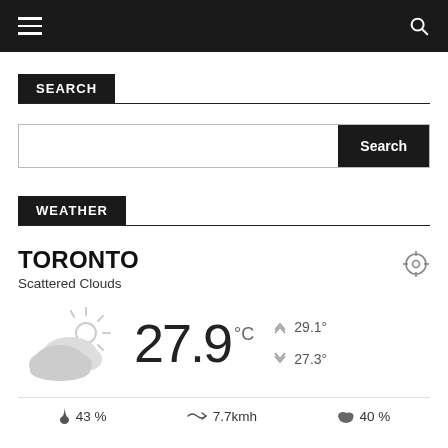Navigation bar with hamburger menu and search icon
SEARCH
Search [input field] Search [button]
WEATHER
TORONTO
Scattered Clouds
[Figure (infographic): Weather widget showing scattered clouds icon, temperature 27.9°C, high 29.1°, low 27.3°, humidity 43%, wind 7.7kmh, cloud cover 40%]
27.9 °C
29.1°
27.3°
43 %  7.7kmh  40 %